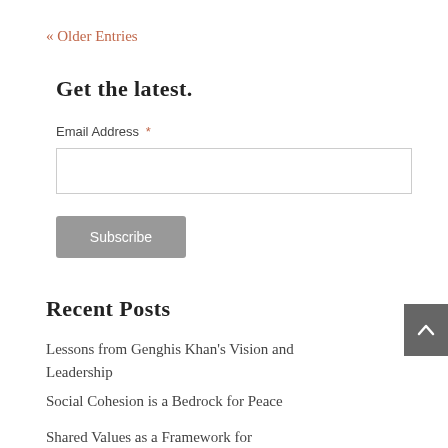« Older Entries
Get the latest.
Email Address *
Subscribe
Recent Posts
Lessons from Genghis Khan's Vision and Leadership
Social Cohesion is a Bedrock for Peace
Shared Values as a Framework for